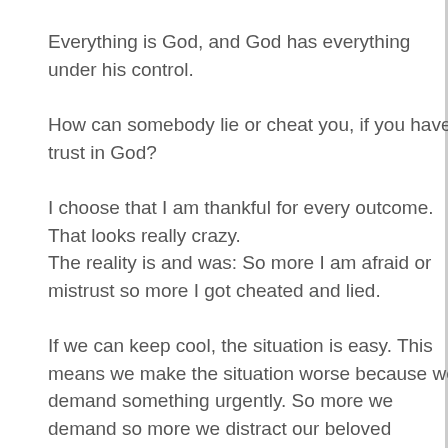Everything is God, and God has everything under his control.
How can somebody lie or cheat you, if you have trust in God?
I choose that I am thankful for every outcome. That looks really crazy.
The reality is and was: So more I am afraid or mistrust so more I got cheated and lied.
If we can keep cool, the situation is easy. This means we make the situation worse because we demand something urgently. So more we demand so more we distract our beloved outcome!